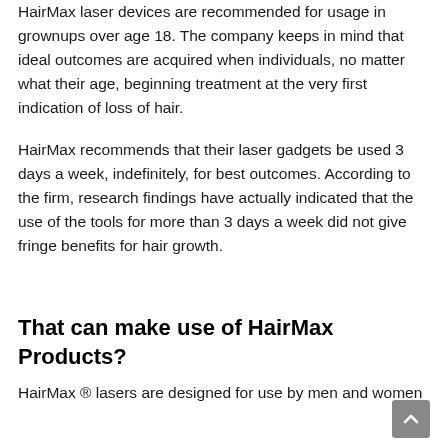HairMax laser devices are recommended for usage in grownups over age 18. The company keeps in mind that ideal outcomes are acquired when individuals, no matter what their age, beginning treatment at the very first indication of loss of hair.
HairMax recommends that their laser gadgets be used 3 days a week, indefinitely, for best outcomes. According to the firm, research findings have actually indicated that the use of the tools for more than 3 days a week did not give fringe benefits for hair growth.
That can make use of HairMax Products?
HairMax ® lasers are designed for use by men and women